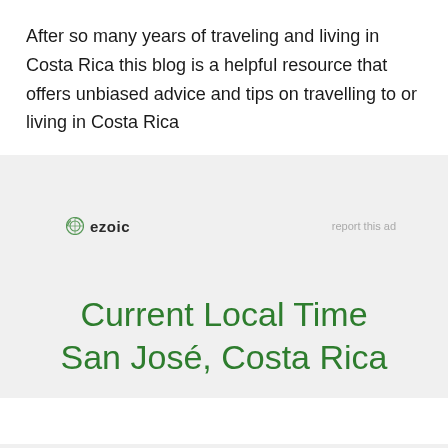After so many years of traveling and living in Costa Rica this blog is a helpful resource that offers unbiased advice and tips on travelling to or living in Costa Rica
[Figure (logo): Ezoic logo with circular icon and bold text 'ezoic', with 'report this ad' link on the right]
Current Local Time San José, Costa Rica